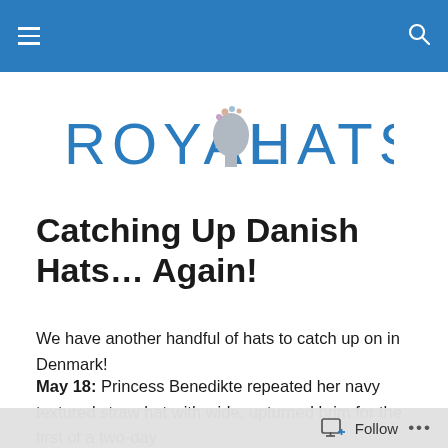Royal Hats – navigation bar with hamburger menu and search icon
[Figure (logo): Royal Hats blog logo: text ROYAL HATS with a grey silhouette of a woman's head wearing a decorative hat in the center]
Catching Up Danish Hats… Again!
We have another handful of hats to catch up on in Denmark!
May 18: Princess Benedikte repeated her navy textured straw hat with wide, upturned brim for the first of a two-day
Follow …